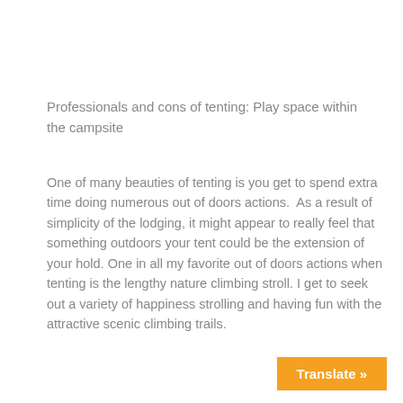Professionals and cons of tenting: Play space within the campsite
One of many beauties of tenting is you get to spend extra time doing numerous out of doors actions.  As a result of simplicity of the lodging, it might appear to really feel that something outdoors your tent could be the extension of your hold. One in all my favorite out of doors actions when tenting is the lengthy nature climbing stroll. I get to seek out a variety of happiness strolling and having fun with the attractive scenic climbing trails.
Translate »